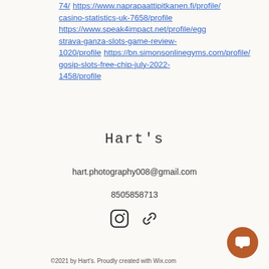74/ https://www.naprapaattipitkanen.fi/profile/casino-statistics-uk-7658/profile https://www.speak4impact.net/profile/eggstrava-ganza-slots-game-review-1020/profile https://bn.simonsonlinegyms.com/profile/gosip-slots-free-chip-july-2022-1458/profile
Hart's
hart.photography008@gmail.com
8505858713
[Figure (other): Instagram icon and link/chain icon social media buttons]
©2021 by Hart's. Proudly created with Wix.com